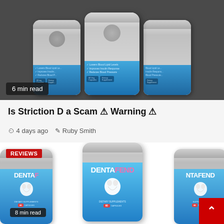[Figure (photo): Three supplement bottles with blue labels against dark gray background, showing text about blood lipid levels, insulin response, blood pressure]
6 min read
Is Striction D a Scam ⚠ Warning ⚠
4 days ago   Ruby Smith
[Figure (photo): Three DENTAFEND supplement bottles with blue labels featuring a tooth logo, labeled DIETARY SUPPLEMENTS 60 CAPSULES, with a red REVIEWS badge]
8 min read